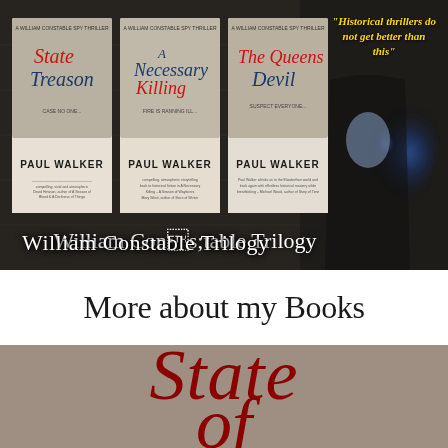[Figure (photo): William Constable Trilogy banner image showing three historical thriller book covers (State Treason, A Necessary Killing, The Queens Devil) by Paul Walker against a dark stone corridor background with glowing blue light. A gold quote reads 'Historical thrillers do not get better than this'. Text overlay reads 'William Constable Trilogy'.]
More about my Books
[Figure (photo): Cropped book cover showing the title 'State of' in large dark red italic script on a taupe/brown background, partially visible.]